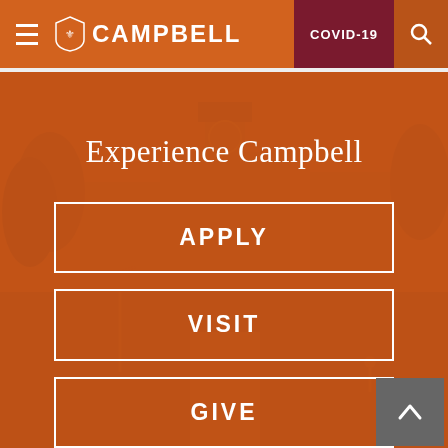Campbell University navigation bar with hamburger menu, Campbell logo, COVID-19 button, and search icon
Experience Campbell
APPLY
VISIT
GIVE